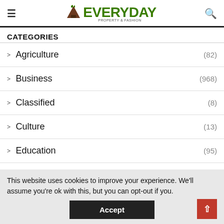Everyday (logo with hamburger menu and search icon)
CATEGORIES
Agriculture (82)
Business (968)
Classified (8)
Culture (13)
Education (95)
This website uses cookies to improve your experience. We'll assume you're ok with this, but you can opt-out if you. Accept